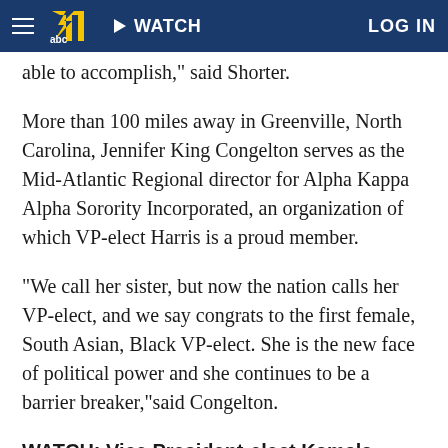WATCH | LOG IN
able to accomplish," said Shorter.
More than 100 miles away in Greenville, North Carolina, Jennifer King Congelton serves as the Mid-Atlantic Regional director for Alpha Kappa Alpha Sorority Incorporated, an organization of which VP-elect Harris is a proud member.
"We call her sister, but now the nation calls her VP-elect, and we say congrats to the first female, South Asian, Black VP-elect. She is the new face of political power and she continues to be a barrier breaker,"said Congelton.
WATCH: Vice President-elect Kamala Harris pays